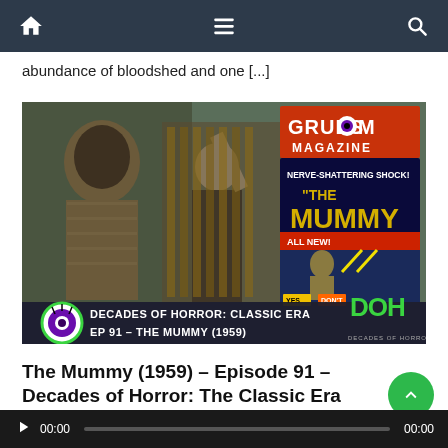Navigation bar with home, menu, and search icons
abundance of bloodshed and one [...]
[Figure (screenshot): Podcast episode thumbnail: scene from The Mummy (1959) showing the mummy creature and a man, overlaid with Gruesom Magazine logo and movie poster. Bottom banner reads: DECADES OF HORROR: CLASSIC ERA EP 91 - THE MUMMY (1959) with DOH logo and eyeball mascot icon.]
The Mummy (1959) – Episode 91 – Decades of Horror: The Classic Era
[Figure (other): Green scroll-to-top circular button with upward chevron arrow]
Audio player: play button, 00:00 time elapsed, progress bar, 00:00 total time